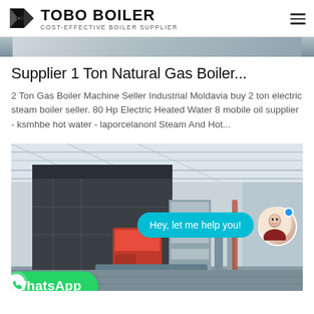[Figure (logo): TOBO BOILER logo with black angular icon and text 'TOBO BOILER / COST-EFFECTIVE BOILER SUPPLIER']
[Figure (photo): Partial top banner photo of industrial boiler facility interior]
Supplier 1 Ton Natural Gas Boiler...
2 Ton Gas Boiler Machine Seller Industrial Moldavia buy 2 ton electric steam boiler seller. 80 Hp Electric Heated Water 8 mobile oil supplier - ksmhbe hot water - laporcelanonl Steam And Hot...
[Figure (photo): Industrial boiler installation photo inside a factory building, with a large dark boiler unit, red components, ductwork, and overlaid WhatsApp chat widget and button]